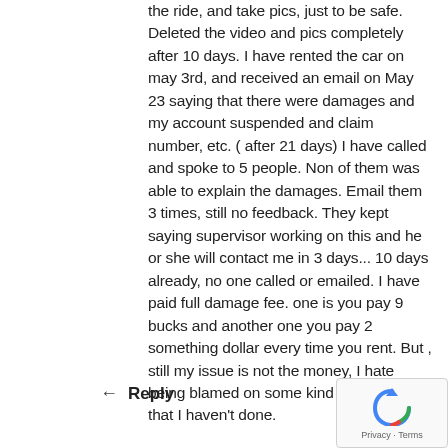the ride, and take pics, just to be safe. Deleted the video and pics completely after 10 days. I have rented the car on may 3rd, and received an email on May 23 saying that there were damages and my account suspended and claim number, etc. ( after 21 days) I have called and spoke to 5 people. Non of them was able to explain the damages. Email them 3 times, still no feedback. They kept saying supervisor working on this and he or she will contact me in 3 days... 10 days already, no one called or emailed. I have paid full damage fee. one is you pay 9 bucks and another one you pay 2 something dollar every time you rent. But , still my issue is not the money, I hate being blamed on some kind of accident that I haven't done.
Reply